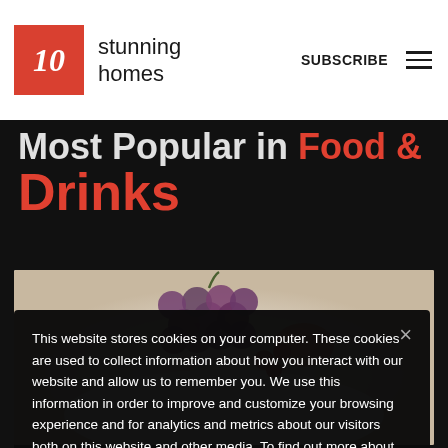10 stunning homes — SUBSCRIBE
Most Popular in Food & Drinks
[Figure (photo): Photo of fruit (grapes and other fruit) on a white plate, partially visible behind a cookie consent overlay]
This website stores cookies on your computer. These cookies are used to collect information about how you interact with our website and allow us to remember you. We use this information in order to improve and customize your browsing experience and for analytics and metrics about our visitors both on this website and other media. To find out more about the cookies we use, see our Privacy Policy